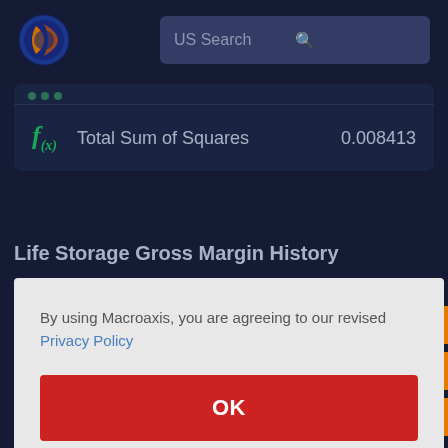[Figure (logo): Macroaxis logo: circular globe icon with orange and blue coloring]
US Search
Total Sum of Squares    0.008413
Life Storage Gross Margin History
By using Macroaxis, you are agreeing to our revised Privacy Policy
OK